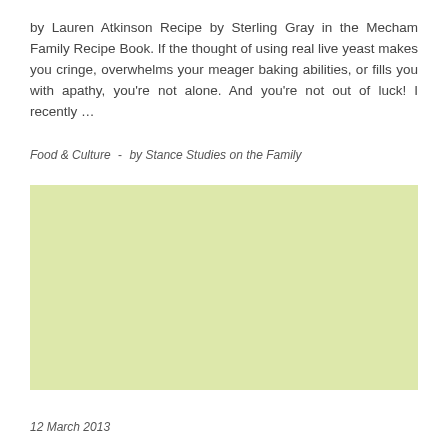by Lauren Atkinson Recipe by Sterling Gray in the Mecham Family Recipe Book. If the thought of using real live yeast makes you cringe, overwhelms your meager baking abilities, or fills you with apathy, you're not alone. And you're not out of luck! I recently ...
Food & Culture  -  by Stance Studies on the Family
[Figure (other): Light green/yellow rectangular placeholder image block]
12 March 2013